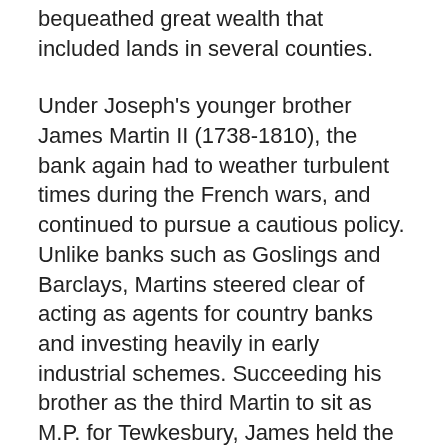bequeathed great wealth that included lands in several counties.
Under Joseph's younger brother James Martin II (1738-1810), the bank again had to weather turbulent times during the French wars, and continued to pursue a cautious policy. Unlike banks such as Goslings and Barclays, Martins steered clear of acting as agents for country banks and investing heavily in early industrial schemes. Succeeding his brother as the third Martin to sit as M.P. for Tewkesbury, James held the seat between 1776 and 1807. Like Joseph he too lived in Downing Street, next door to William Pitt the younger, and though opposed politically he and Pitt were apparently personal friends.
The firm undertook a branch of marine finance in the mid-1700s through the use of respondentia bonds